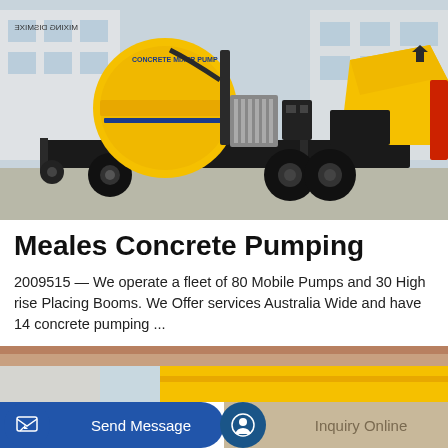[Figure (photo): Yellow concrete mixer pump machine on a trailer, parked in a facility yard. Text on the machine reads 'CONCRETE MIXER PUMP' and 'MIXING DISMIXE' reflected. Machine is large, yellow, with black wheels and hydraulic components.]
Meales Concrete Pumping
2009515 — We operate a fleet of 80 Mobile Pumps and 30 High rise Placing Booms. We Offer services Australia Wide and have 14 concrete pumping ...
Learn More
[Figure (photo): Partial view of yellow concrete pumping equipment near a building with tiled roof, at the bottom of the page.]
Send Message
Inquiry Online